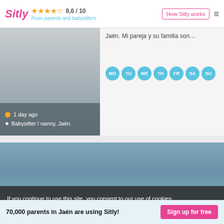Sitly — From parents and babysitters — 8,6 / 10
Jaén. Mi pareja y su familia son...
1 day ago
Babysitter / nanny, Jaén
MO TU WE TH FR SA SU
[Figure (photo): Profile photo placeholder - grey gradient]
[Figure (photo): Large profile photo - blue-grey gradient]
If you continue to use this site, you consent to our use of cookies. More under settings.
Accept
70,000 parents in Jaén are using Sitly!
Sign up for free